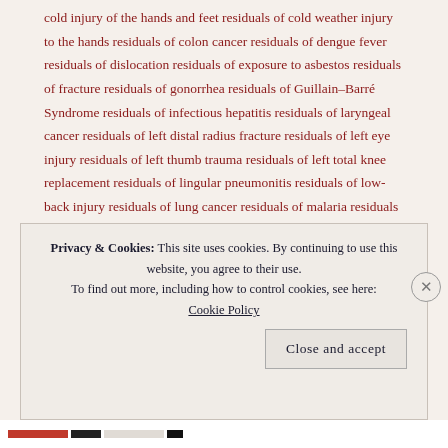cold injury of the hands and feet residuals of cold weather injury to the hands residuals of colon cancer residuals of dengue fever residuals of dislocation residuals of exposure to asbestos residuals of fracture residuals of gonorrhea residuals of Guillain–Barré Syndrome residuals of infectious hepatitis residuals of laryngeal cancer residuals of left distal radius fracture residuals of left eye injury residuals of left thumb trauma residuals of left total knee replacement residuals of lingular pneumonitis residuals of low-back injury residuals of lung cancer residuals of malaria residuals of neoplasm of the testis residuals of procedures residuals of prostate cancer Residuals of right knee meniscectomy residuals of right shoulder/arm injury residuals of shortening of the left lower
Privacy & Cookies: This site uses cookies. By continuing to use this website, you agree to their use. To find out more, including how to control cookies, see here: Cookie Policy
Close and accept